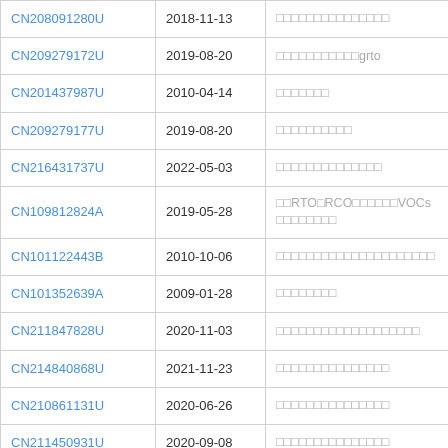| Patent ID | Date | Title |
| --- | --- | --- |
| CN208091280U | 2018-11-13 | □□□□□□□□□□□□□□□ |
| CN209279172U | 2019-08-20 | □□□□□□□□□□□grto |
| CN201437987U | 2010-04-14 | □□□□□□□ |
| CN209279177U | 2019-08-20 | □□□□□□□□□□ |
| CN216431737U | 2022-05-03 | □□□□□□□□□□□□□□ |
| CN109812824A | 2019-05-28 | □□RTO□RCO□□□□□□VOCs□□□□□□□□ |
| CN101122443B | 2010-10-06 | □□□□□□□□□□□□□□□□□□□□□ |
| CN101352639A | 2009-01-28 | □□□□□□□□ |
| CN211847828U | 2020-11-03 | □□□□□□□□□□□□□□□□□□□ |
| CN214840868U | 2021-11-23 | □□□□□□□□□□□□□□□ |
| CN210861131U | 2020-06-26 | □□□□□□□□□□□□□□□ |
| CN211450931U | 2020-09-08 | □□□□□□□□□□□□□□□ |